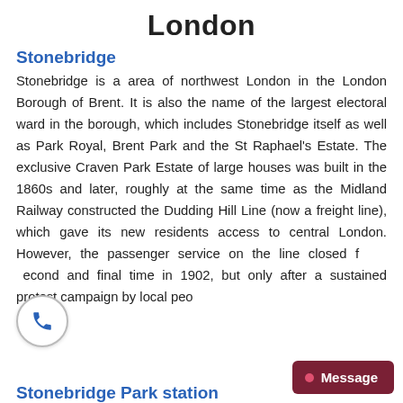London
Stonebridge
Stonebridge is a area of northwest London in the London Borough of Brent. It is also the name of the largest electoral ward in the borough, which includes Stonebridge itself as well as Park Royal, Brent Park and the St Raphael’s Estate. The exclusive Craven Park Estate of large houses was built in the 1860s and later, roughly at the same time as the Midland Railway constructed the Dudding Hill Line (now a freight line), which gave its new residents access to central London. However, the passenger service on the line closed for a second and final time in 1902, but only after a sustained protest campaign by local peo
Stonebridge Park station